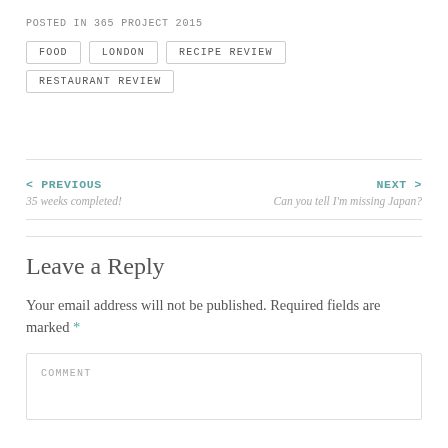POSTED IN 365 PROJECT 2015
FOOD
LONDON
RECIPE REVIEW
RESTAURANT REVIEW
< PREVIOUS
35 weeks completed!
NEXT >
Can you tell I'm missing Japan?
Leave a Reply
Your email address will not be published. Required fields are marked *
COMMENT